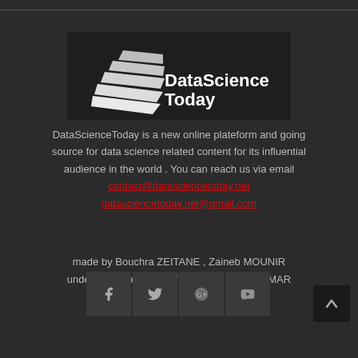[Figure (logo): DataScienceToday logo with stacked angular white shapes on dark background and text 'DataScienceToday']
DataScienceToday is a new online plateform and going source for data science related content for its influential audience in the world . You can reach us via email contact@datasciencetoday.net datasciencetoday.net@gmail.com
made by Bouchra ZEITANE , Zaineb MOUNIR under the supervision of Pr. Habib BENLAHMAR
[Figure (other): Social media icon buttons: Facebook, Twitter, Google+, YouTube on dark background]